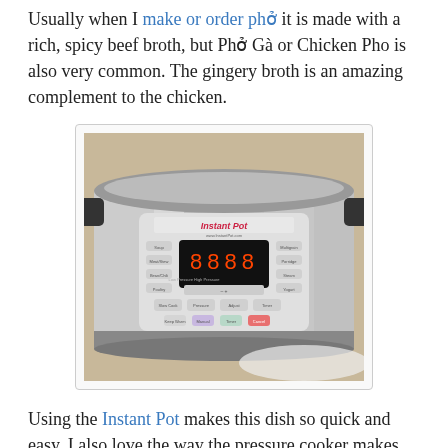Usually when I make or order phở it is made with a rich, spicy beef broth, but Phở Gà or Chicken Pho is also very common. The gingery broth is an amazing complement to the chicken.
[Figure (photo): An Instant Pot electric pressure cooker, silver stainless steel body with a digital control panel showing 8888 on the display, multiple buttons for various cooking functions, placed on a white surface.]
Using the Instant Pot makes this dish so quick and easy. I also love the way the pressure cooker makes such a lovely, clear broth. The most time-consuming part was gathering the spices.
[Figure (photo): Partial view of another image at the bottom of the page, showing a dark background, cropped.]